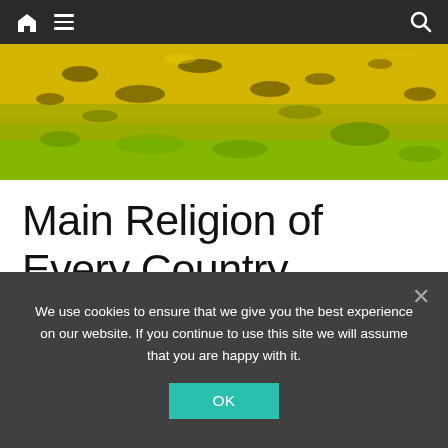Navigation bar with home icon, hamburger menu, and search icon
[Figure (photo): Aerial view of a golden-green landscape field, mossy or grassy terrain with patches of dark earth, predominantly yellow and green hues.]
Main Religion of Every Country
Below is the main religion of all 193 UN countries in the world. That's all the members of the United
We use cookies to ensure that we give you the best experience on our website. If you continue to use this site we will assume that you are happy with it.